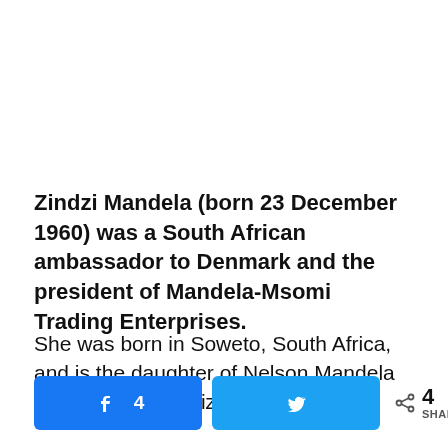Zindzi Mandela (born 23 December 1960) was a South African ambassador to Denmark and the president of Mandela-Msomi Trading Enterprises.
She was born in Soweto, South Africa, and is the daughter of Nelson Mandela and Winnie Madikizela Mandela.
[Figure (infographic): Social share buttons: Facebook button with count 4, Twitter button, and a share icon showing 4 SHARES total.]